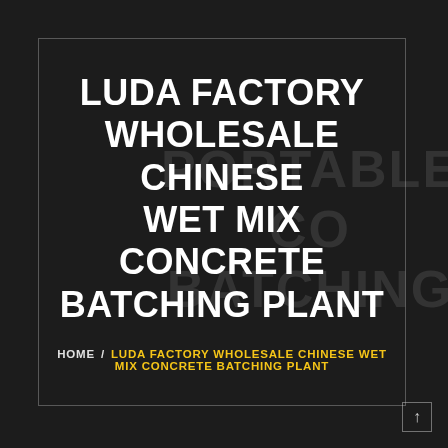LUDA FACTORY WHOLESALE CHINESE WET MIX CONCRETE BATCHING PLANT
HOME / LUDA FACTORY WHOLESALE CHINESE WET MIX CONCRETE BATCHING PLANT